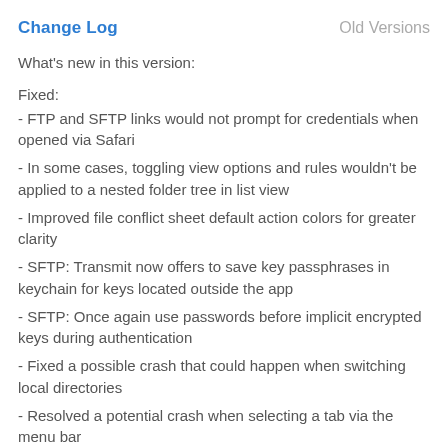Change Log    Old Versions
What's new in this version:
Fixed:
- FTP and SFTP links would not prompt for credentials when opened via Safari
- In some cases, toggling view options and rules wouldn't be applied to a nested folder tree in list view
- Improved file conflict sheet default action colors for greater clarity
- SFTP: Transmit now offers to save key passphrases in keychain for keys located outside the app
- SFTP: Once again use passwords before implicit encrypted keys during authentication
- Fixed a possible crash that could happen when switching local directories
- Resolved a potential crash when selecting a tab via the menu bar